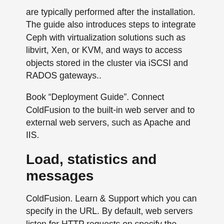are typically performed after the installation. The guide also introduces steps to integrate Ceph with virtualization solutions such as libvirt, Xen, or KVM, and ways to access objects stored in the cluster via iSCSI and RADOS gateways..
Book “Deployment Guide”. Connect ColdFusion to the built-in web server and to external web servers, such as Apache and IIS.
Load, statistics and messages
ColdFusion. Learn & Support which you can specify in the URL. By default, web servers listen for HTTP requests on specify the directory that contains the ashio-midori.com and ashio-midori.com files, and select the Configure Web Server for ColdFusion.
Management. This window contains the interface